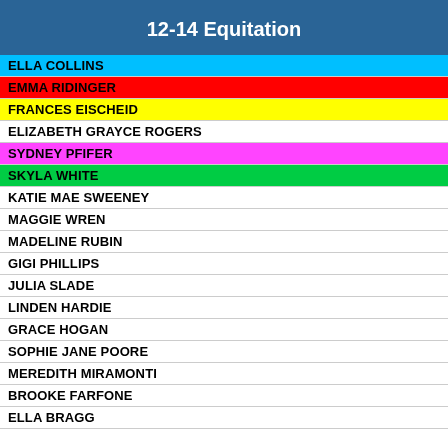12-14 Equitation
ELLA COLLINS
EMMA RIDINGER
FRANCES EISCHEID
ELIZABETH GRAYCE ROGERS
SYDNEY PFIFER
SKYLA WHITE
KATIE MAE SWEENEY
MAGGIE WREN
MADELINE RUBIN
GIGI PHILLIPS
JULIA SLADE
LINDEN HARDIE
GRACE HOGAN
SOPHIE JANE POORE
MEREDITH MIRAMONTI
BROOKE FARFONE
ELLA BRAGG